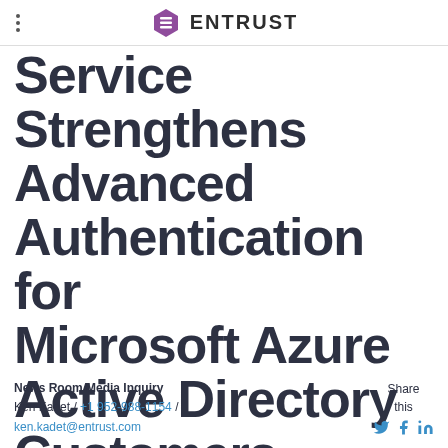ENTRUST
Service Strengthens Advanced Authentication for Microsoft Azure Active Directory Customers
News Room Media Inquiry
Ken Kadet / +1 952-988-1154 /
ken.kadet@entrust.com
Share this